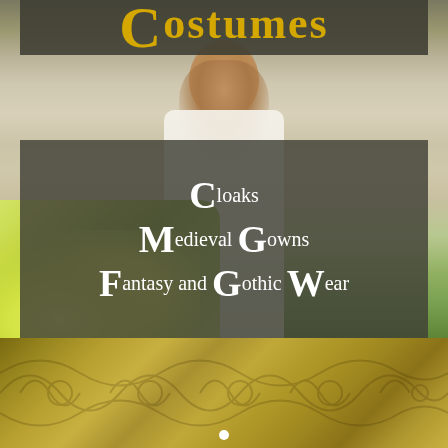[Figure (photo): Website banner/hero image for a medieval/fantasy costume shop. Shows a woman in a white flowing dress standing among flowers, with ornamental gold band at bottom. Contains text overlays with shop categories and a 'Shop Now' button.]
Costumes
Cloaks
Medieval Gowns
Fantasy and Gothic Wear
SHOP NOW